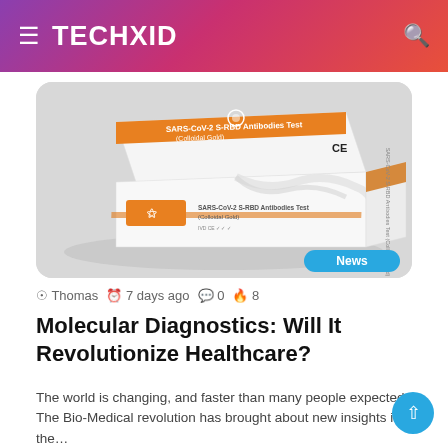TECHXID
[Figure (photo): SARS-CoV-2 S-RBD Antibodies Test (Colloidal Gold) medical test kit box with orange and white packaging, CE marked, with a News badge overlay]
Thomas  7 days ago  0  8
Molecular Diagnostics: Will It Revolutionize Healthcare?
The world is changing, and faster than many people expected. The Bio-Medical revolution has brought about new insights into the…